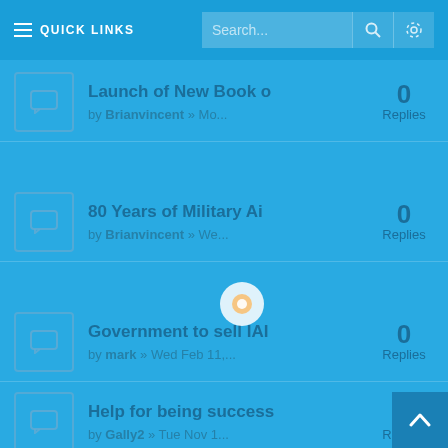QUICK LINKS
Launch of New Book o by Brianvincent » Mo... 0 Replies
80 Years of Military Ai by Brianvincent » We... 0 Replies
Government to sell IAI by mark » Wed Feb 11,... 0 Replies
Help for being success by Gally2 » Tue Nov 1... 5 Replies